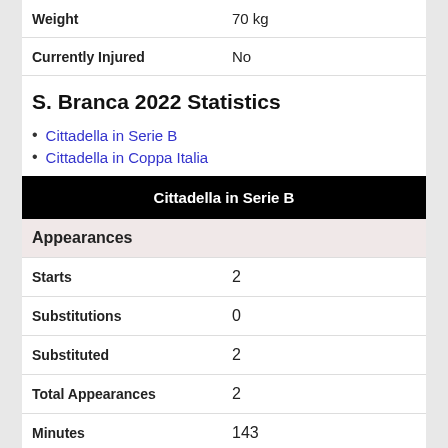| Property | Value |
| --- | --- |
| Weight | 70 kg |
| Currently Injured | No |
S. Branca 2022 Statistics
Cittadella in Serie B
Cittadella in Coppa Italia
| Cittadella in Serie B |
| --- |
| Appearances |  |
| Starts | 2 |
| Substitutions | 0 |
| Substituted | 2 |
| Total Appearances | 2 |
| Minutes | 143 |
| Minutes per Game | 72 |